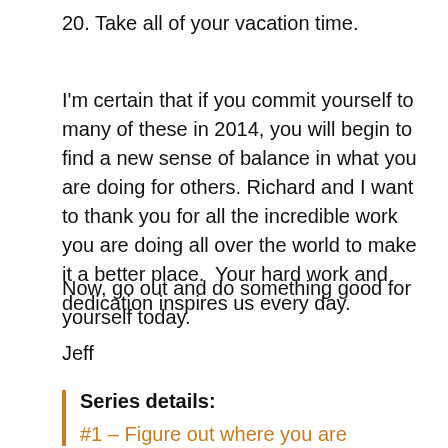20. Take all of your vacation time.
I'm certain that if you commit yourself to many of these in 2014, you will begin to find a new sense of balance in what you are doing for others. Richard and I want to thank you for all the incredible work you are doing all over the world to make it a better place.  Your hard work and dedication inspires us every day.
Now, go out and do something good for yourself today.
Jeff
Series details:
#1 – Figure out where you are